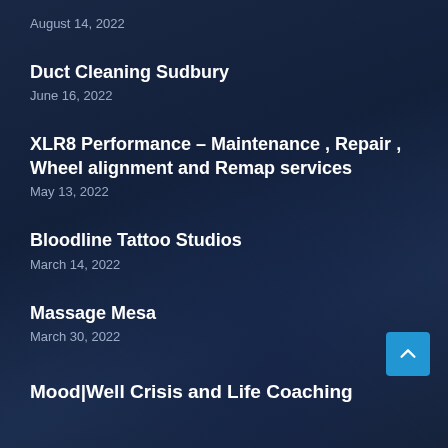August 14, 2022
Duct Cleaning Sudbury
June 16, 2022
XLR8 Performance – Maintenance , Repair , Wheel alignment and Remap services
May 13, 2022
Bloodline Tattoo Studios
March 14, 2022
Massage Mesa
March 30, 2022
Mood|Well Crisis and Life Coaching